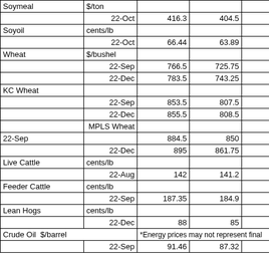|  |  |  |  |  |
| --- | --- | --- | --- | --- |
| Soymeal | $/ton |  |  |  |
|  | 22-Oct | 416.3 | 404.5 | 413 |
| Soyoil | cents/lb |  |  |  |
|  | 22-Oct | 66.44 | 63.89 | 64.8 |
| Wheat | $/bushel |  |  |  |
|  | 22-Sep | 766.5 | 725.75 | 731.5 |
|  | 22-Dec | 783.5 | 743.25 | 749 |
| KC Wheat |  |  |  |  |
|  | 22-Sep | 853.5 | 807.5 | 812.5 |
|  | 22-Dec | 855.5 | 808.5 | 815.25 |
|  | MPLS Wheat |  |  |  |
| 22-Sep |  | 884.5 | 850 | 852.75 |
|  | 22-Dec | 895 | 861.75 | 864.75 |
| Live Cattle | cents/lb |  |  |  |
|  | 22-Aug | 142 | 141.2 | 141.2 |
| Feeder Cattle | cents/lb |  |  |  |
|  | 22-Sep | 187.35 | 184.9 | 184.9 |
| Lean Hogs | cents/lb |  |  |  |
|  | 22-Dec | 88 | 85 | 85.05 |
| Crude Oil  $/barrel |  | *Energy prices may not represent final |  |  |
|  | 22-Sep | 91.46 | 87.32 | 90.54 |